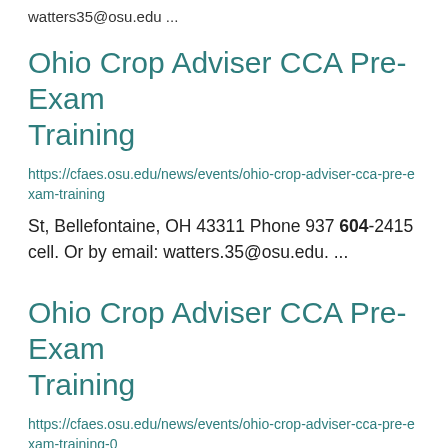watters35@osu.edu ...
Ohio Crop Adviser CCA Pre-Exam Training
https://cfaes.osu.edu/news/events/ohio-crop-adviser-cca-pre-exam-training
St, Bellefontaine, OH 43311 Phone 937 604-2415 cell. Or by email: watters.35@osu.edu. ...
Ohio Crop Adviser CCA Pre-Exam Training
https://cfaes.osu.edu/news/events/ohio-crop-adviser-cca-pre-exam-training-0
St, Bellefontaine, OH 43311 Phone 937 604-2415 cell. Or by email: